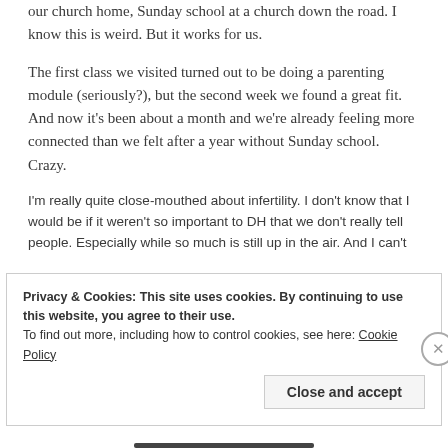our church home, Sunday school at a church down the road. I know this is weird. But it works for us.
The first class we visited turned out to be doing a parenting module (seriously?), but the second week we found a great fit. And now it’s been about a month and we’re already feeling more connected than we felt after a year without Sunday school. Crazy.
I’m really quite close-mouthed about infertility. I don’t know that I would be if it weren’t so important to DH that we don’t really tell people. Especially while so much is still up in the air. And I can’t
Privacy & Cookies: This site uses cookies. By continuing to use this website, you agree to their use.
To find out more, including how to control cookies, see here: Cookie Policy
Close and accept